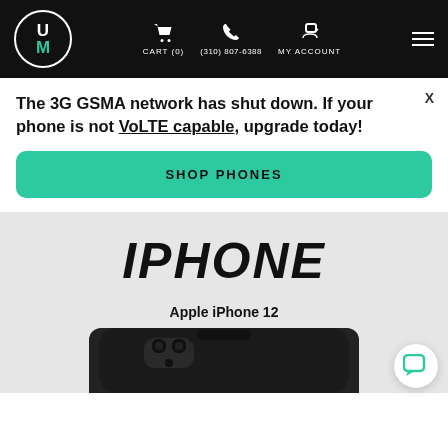[Figure (screenshot): Website header with UM logo, cart, phone number (310) 807-6388, my account, and hamburger menu on black background]
The 3G GSMA network has shut down. If your phone is not VoLTE capable, upgrade today!
SHOP PHONES
IPHONE
Apple iPhone 12
[Figure (photo): Apple iPhone 12 shown from the front, dark color, partial view]